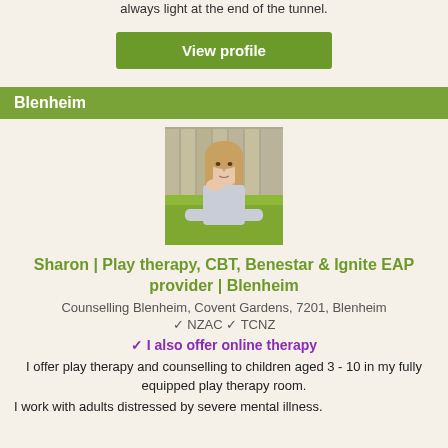always light at the end of the tunnel.
View profile
Blenheim
[Figure (photo): Portrait photo of Sharon, a woman with long blonde hair lying on grass in front of a wooden fence, wearing a grey top, resting her chin on her hand.]
Sharon | Play therapy, CBT, Benestar & Ignite EAP provider | Blenheim
Counselling Blenheim, Covent Gardens, 7201, Blenheim
✓ NZAC ✓ TCNZ
✓ I also offer online therapy
I offer play therapy and counselling to children aged 3 - 10 in my fully equipped play therapy room.
I work with adults distressed by severe mental illness.